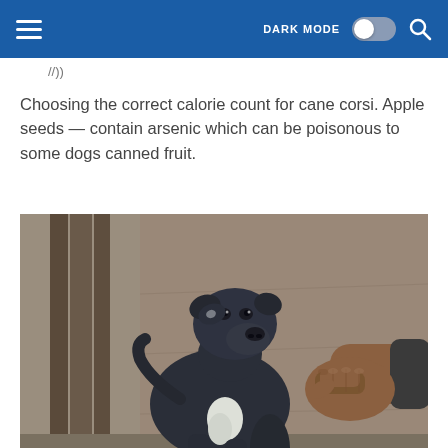DARK MODE [toggle] [search icon]
Choosing the correct calorie count for cane corsi. Apple seeds — contain arsenic which can be poisonous to some dogs canned fruit.
[Figure (photo): A dark blue/grey Cane Corso puppy standing indoors near wooden/concrete surfaces, with a human hand extended toward it. The puppy has a white patch on its chest and is looking at the camera.]